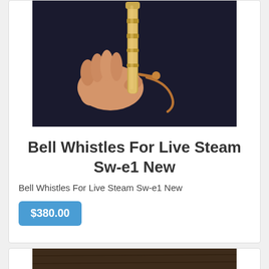[Figure (photo): A hand holding a brass bell whistle for live steam, shown against a dark background. The whistle is gold/brass colored with a small copper lever mechanism.]
Bell Whistles For Live Steam Sw-e1 New
Bell Whistles For Live Steam Sw-e1 New
$380.00
[Figure (photo): Bottom portion of a second product card showing a wooden surface or product on a dark background.]